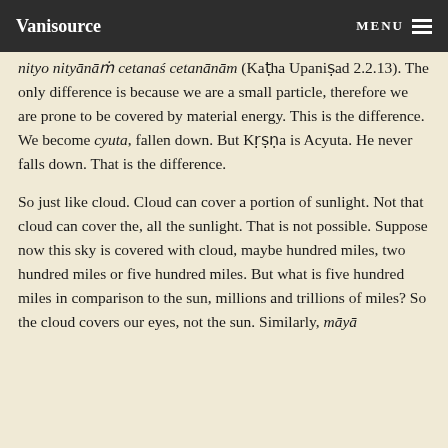Vanisource | MENU
nityo nityānāṁ cetanaś cetanānām (Kaṭha Upaniṣad 2.2.13). The only difference is because we are a small particle, therefore we are prone to be covered by material energy. This is the difference. We become cyuta, fallen down. But Kṛṣṇa is Acyuta. He never falls down. That is the difference.
So just like cloud. Cloud can cover a portion of sunlight. Not that cloud can cover the, all the sunlight. That is not possible. Suppose now this sky is covered with cloud, maybe hundred miles, two hundred miles or five hundred miles. But what is five hundred miles in comparison to the sun, millions and trillions of miles? So the cloud covers our eyes, not the sun. Similarly, māyā